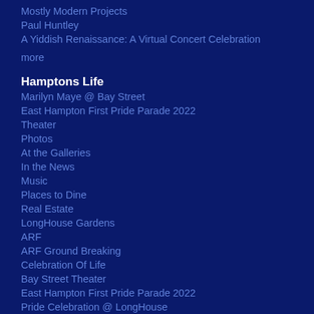Mostly Modern Projects
Paul Huntley
A Yiddish Renaissance: A Virtual Concert Celebration
more
Hamptons Life
Marilyn Maye @ Bay Street
East Hampton First Pride Parade 2022
Theater
Photos
At the Galleries
In the News
Music
Places to Dine
Real Estate
LongHouse Gardens
ARF
ARF Ground Breaking
Celebration Of Life
Bay Street Theater
East Hampton First Pride Parade 2022
Pride Celebration @ LongHouse
Storytime Online
LTV's What's Your Story